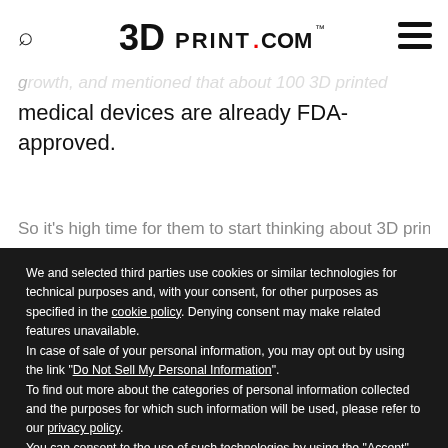3DPrint.com
medical devices are already FDA-approved.
We and selected third parties use cookies or similar technologies for technical purposes and, with your consent, for other purposes as specified in the cookie policy. Denying consent may make related features unavailable.
In case of sale of your personal information, you may opt out by using the link "Do Not Sell My Personal Information".
To find out more about the categories of personal information collected and the purposes for which such information will be used, please refer to our privacy policy.
You can consent to the use of such technologies by using the "Accept" button, by scrolling this page, by interacting with any link or button outside of this notice or by continuing to browse otherwise.
Reject
Accept
Learn more and customize